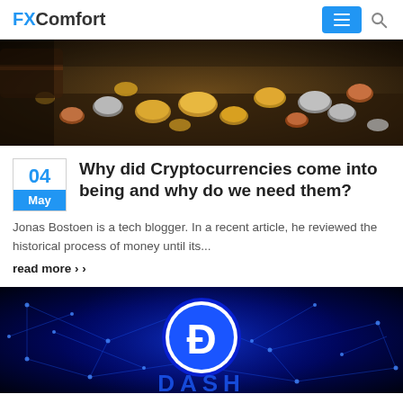FXComfort
[Figure (photo): Overhead photo of scattered coins — gold, silver, and copper — on a dark wooden surface with a treasure chest in background]
Why did Cryptocurrencies come into being and why do we need them?
Jonas Bostoen is a tech blogger. In a recent article, he reviewed the historical process of money until its...
read more »
[Figure (photo): Dark blue digital network background with glowing Dash cryptocurrency logo (blue circle with white D symbol) and DASH text at bottom]